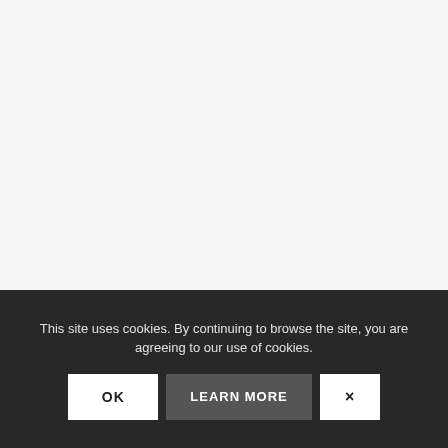[Figure (photo): Large light gray area representing a webpage screenshot background, mostly blank/white.]
LEAN STARTUP MACHINE PROVE
LEAN CAN...
This site uses cookies. By continuing to browse the site, you are agreeing to our use of cookies.
OK
LEARN MORE
×